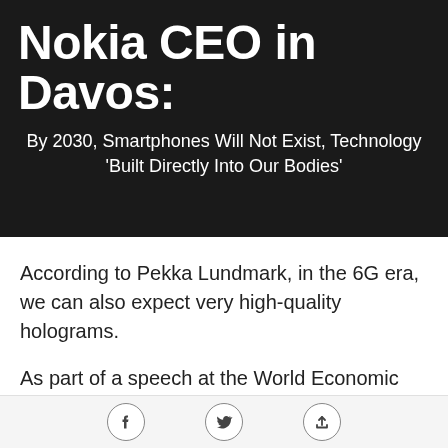Nokia CEO in Davos:
By 2030, Smartphones Will Not Exist, Technology 'Built Directly Into Our Bodies'
According to Pekka Lundmark, in the 6G era, we can also expect very high-quality holograms.
As part of a speech at the World Economic Forum in Davos, Nokia CEO Pekka Lundmark said that sixth-generation networks will appear on the commercial market by 2030. He also noted that the smartphone
Share icons: Facebook, Twitter, Upload